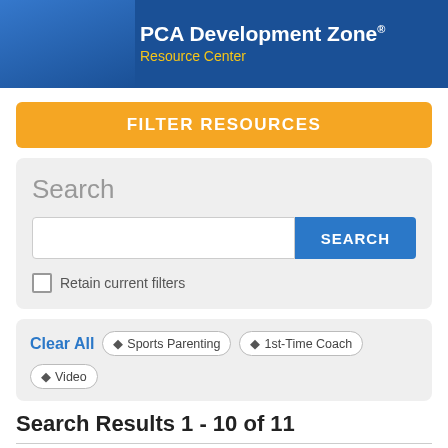PCA Development Zone® Resource Center
FILTER RESOURCES
Search
Retain current filters
Clear All  ✕ Sports Parenting  ✕ 1st-Time Coach  ✕ Video
Search Results 1 - 10 of 11